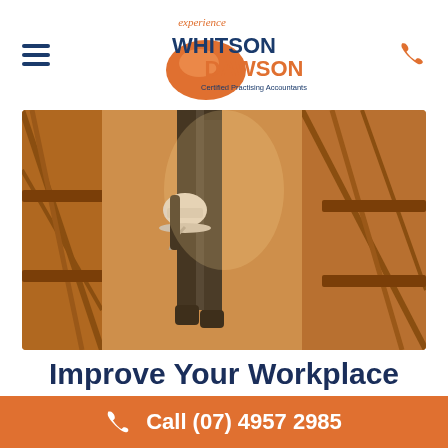[Figure (logo): Whitson Dawson Certified Practising Accountants logo with orange ellipse and dark blue text]
[Figure (photo): Construction worker in black pants carrying a white hard hat walking through a wooden framed construction site structure]
Improve Your Workplace Injury Prevention and
Call (07) 4957 2985